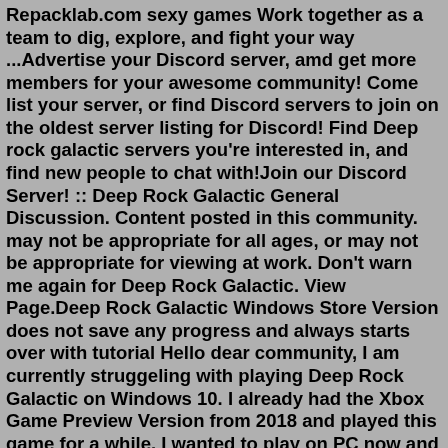Repacklab.com sexy games Work together as a team to dig, explore, and fight your way ...Advertise your Discord server, amd get more members for your awesome community! Come list your server, or find Discord servers to join on the oldest server listing for Discord! Find Deep rock galactic servers you're interested in, and find new people to chat with!Join our Discord Server! :: Deep Rock Galactic General Discussion. Content posted in this community. may not be appropriate for all ages, or may not be appropriate for viewing at work. Don't warn me again for Deep Rock Galactic. View Page.Deep Rock Galactic Windows Store Version does not save any progress and always starts over with tutorial Hello dear community, I am currently struggeling with playing Deep Rock Galactic on Windows 10. I already had the Xbox Game Preview Version from 2018 and played this game for a while. I wanted to play on PC now and had to buy the Windows ...Twitter Discord. Log in; ... Deep Rock Galactic (2018) PS4, XboxOne, PC, PS5, XboxSeriesX, XboxSeriesS, ... Deep Dive